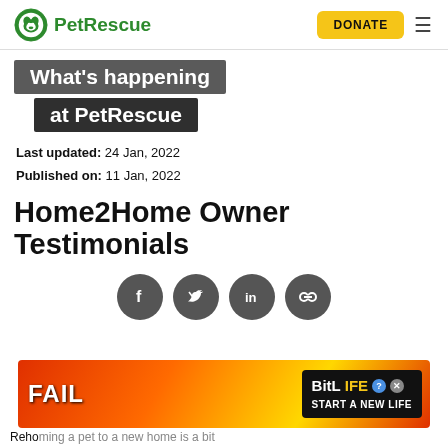PetRescue — DONATE
What's happening at PetRescue
Last updated: 24 Jan, 2022
Published on: 11 Jan, 2022
Home2Home Owner Testimonials
[Figure (infographic): Social sharing icons: Facebook, Twitter, LinkedIn, Link/copy]
[Figure (infographic): Advertisement banner: BitLife - Start a New Life, with FAIL text and cartoon imagery]
Rehoming a pet to a new home is a bit